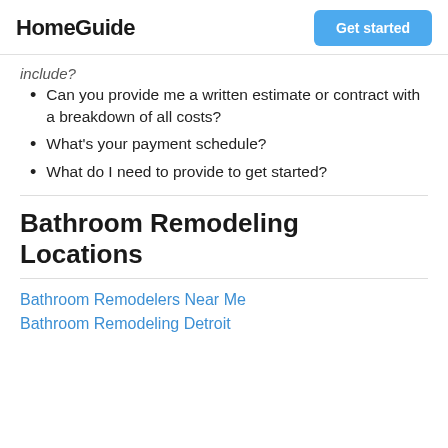HomeGuide | Get started
include?
Can you provide me a written estimate or contract with a breakdown of all costs?
What's your payment schedule?
What do I need to provide to get started?
Bathroom Remodeling Locations
Bathroom Remodelers Near Me
Bathroom Remodeling Detroit